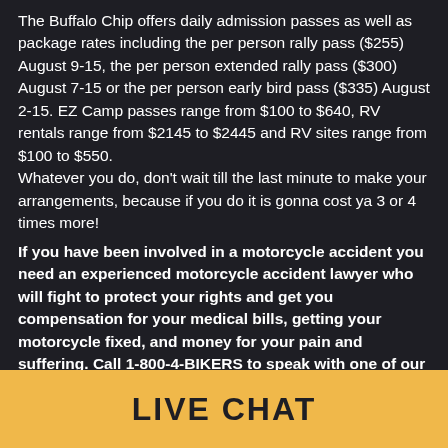The Buffalo Chip offers daily admission passes as well as package rates including the per person rally pass ($255) August 9-15, the per person extended rally pass ($300) August 7-15 or the per person early bird pass ($335) August 2-15. EZ Camp passes range from $100 to $640, RV rentals range from $2145 to $2445 and RV sites range from $100 to $550.
Whatever you do, don't wait till the last minute to make your arrangements, because if you do it is gonna cost ya 3 or 4 times more!
If you have been involved in a motorcycle accident you need an experienced motorcycle accident lawyer who will fight to protect your rights and get you compensation for your medical bills, getting your motorcycle fixed, and money for your pain and suffering. Call 1-800-4-BIKERS to speak with one of our skilled and knowledgeable personal injury lawyers who also ride!
LIVE CHAT